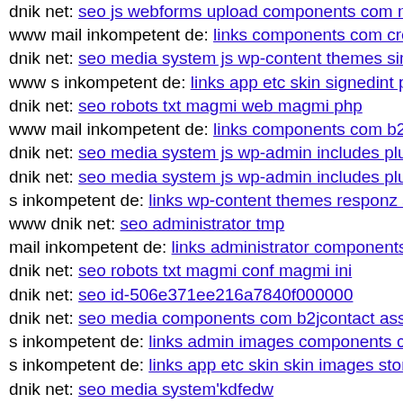dnik net: seo js webforms upload components com media c
www mail inkompetent de: links components com creative
dnik net: seo media system js wp-content themes simplicit
www s inkompetent de: links app etc skin signedint php'
dnik net: seo robots txt magmi web magmi php
www mail inkompetent de: links components com b2jcont
dnik net: seo media system js wp-admin includes plugins c
dnik net: seo media system js wp-admin includes plugins c
s inkompetent de: links wp-content themes responz style c
www dnik net: seo administrator tmp
mail inkompetent de: links administrator components com
dnik net: seo robots txt magmi conf magmi ini
dnik net: seo id-506e371ee216a7840f000000
dnik net: seo media components com b2jcontact assets dni
s inkompetent de: links admin images components com b2
s inkompetent de: links app etc skin skin images stories ma
dnik net: seo media system'kdfedw
www dnik net: seo media components com b2jcontact mec
mail inkompetent de: links wp-content
dnik net: seo media system js skin administrator administra